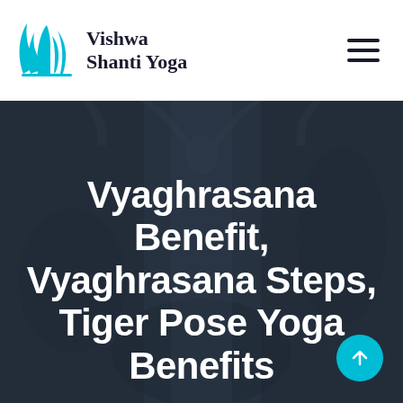Vishwa Shanti Yoga
[Figure (photo): Dark background photo of a person practicing yoga with arms raised, overlaid with the hero title text for a yoga website]
Vyaghrasana Benefit, Vyaghrasana Steps, Tiger Pose Yoga Benefits